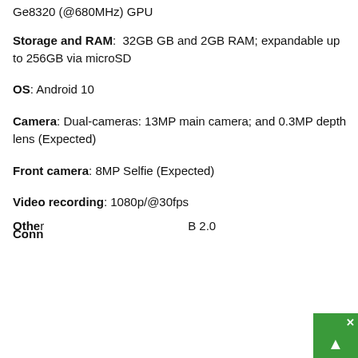Ge8320 (@680MHz) GPU
Storage and RAM: 32GB GB and 2GB RAM; expandable up to 256GB via microSD
OS: Android 10
Camera: Dual-cameras: 13MP main camera; and 0.3MP depth lens (Expected)
Front camera: 8MP Selfie (Expected)
Video recording: 1080p/@30fps
Conn
Other B 2.0